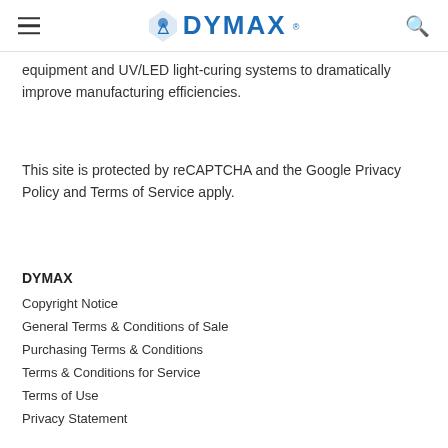DYMAX
equipment and UV/LED light-curing systems to dramatically improve manufacturing efficiencies.
This site is protected by reCAPTCHA and the Google Privacy Policy and Terms of Service apply.
DYMAX
Copyright Notice
General Terms & Conditions of Sale
Purchasing Terms & Conditions
Terms & Conditions for Service
Terms of Use
Privacy Statement